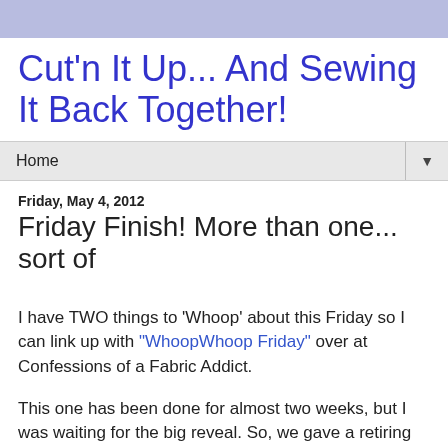Cut'n It Up... And Sewing It Back Together!
Home
Friday, May 4, 2012
Friday Finish! More than one... sort of
I have TWO things to 'Whoop' about this Friday so I can link up with "WhoopWhoop Friday" over at Confessions of a Fabric Addict.
This one has been done for almost two weeks, but I was waiting for the big reveal. So, we gave a retiring teacher a quilt that I made for her last night... the one I have been blogging about for a while that has all the names of the children from her classes back to 1997 on it. I started working on it back in January and posted first about it here